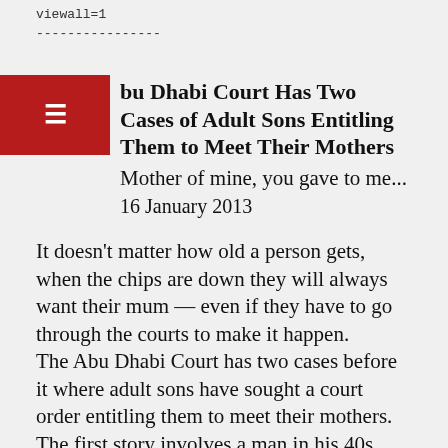viewall=1
----------------
Abu Dhabi Court Has Two Cases of Adult Sons Entitling Them to Meet Their Mothers
Mother of mine, you gave to me...
16 January 2013
It doesn't matter how old a person gets, when the chips are down they will always want their mum — even if they have to go through the courts to make it happen.
The Abu Dhabi Court has two cases before it where adult sons have sought a court order entitling them to meet their mothers.
The first story involves a man in his 40s who says